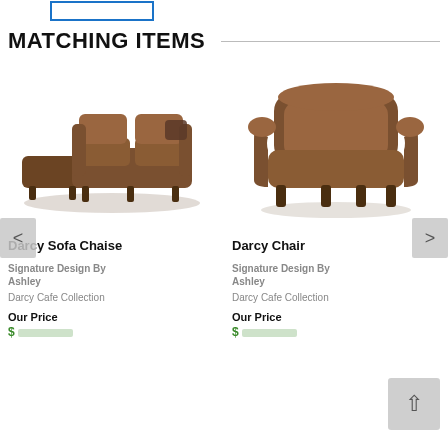MATCHING ITEMS
[Figure (photo): Brown Darcy Sofa Chaise with chaise lounge section, upholstered in mocha fabric]
Darcy Sofa Chaise
Signature Design By Ashley
Darcy Cafe Collection
Our Price
[Figure (photo): Brown Darcy Chair, oversized armchair upholstered in mocha fabric]
Darcy Chair
Signature Design By Ashley
Darcy Cafe Collection
Our Price